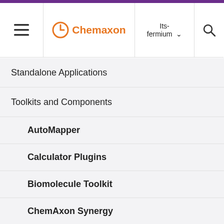Chemaxon | Its-fermium
Standalone Applications
Toolkits and Components
AutoMapper
Calculator Plugins
Biomolecule Toolkit
ChemAxon Synergy
Document to Structure
JChem Base
JChem Choral